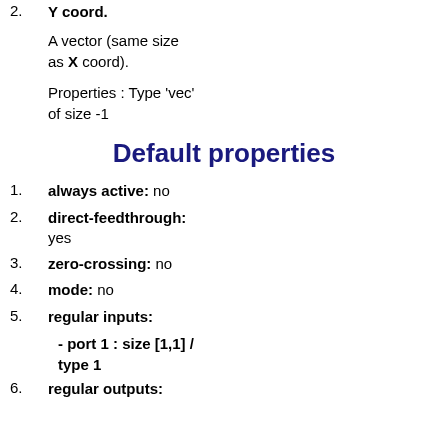2. Y coord. A vector (same size as X coord). Properties : Type 'vec' of size -1
Default properties
1. always active: no
2. direct-feedthrough: yes
3. zero-crossing: no
4. mode: no
5. regular inputs:
- port 1 : size [1,1] / type 1
6. regular outputs: